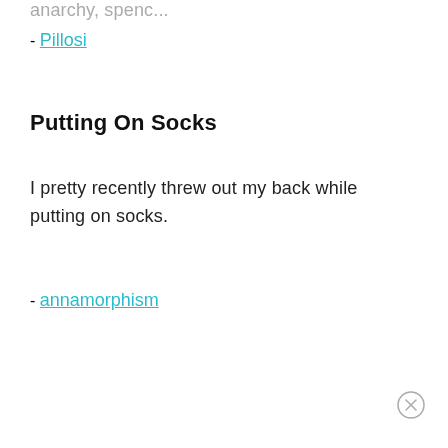anarchy, spelled...
- Pillosi
Putting On Socks
I pretty recently threw out my back while putting on socks.
- annamorphism